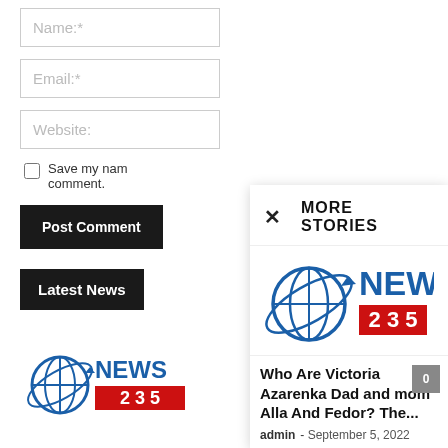Name:*
Email:*
Website:
Save my name, comment.
Post Comment
Latest News
[Figure (logo): News235 logo small, bottom left]
MORE STORIES
[Figure (logo): News235 logo large in panel]
Who Are Victoria Azarenka Dad and mom Alla And Fedor? The...
admin - September 5, 2022
September 5, 2022